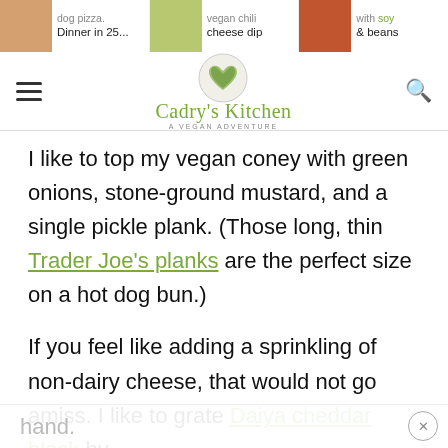Cadry's Kitchen — A Vegan Adventure. Navigation header with logo, hamburger menu, and search icon. Top strip shows: dog pizza Dinner in 25..., vegan chili cheese dip, with [soy] & beans
I like to top my vegan coney with green onions, stone-ground mustard, and a single pickle plank. (Those long, thin Trader Joe's planks are the perfect size on a hot dog bun.)
If you feel like adding a sprinkling of non-dairy cheese, that would not go amiss. I like to grate Daiya cheddar block by hand.